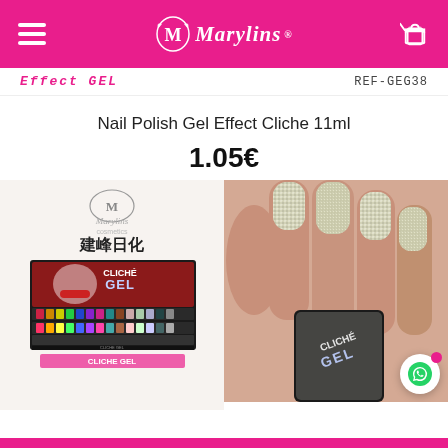Marylins
Effect GEL
REF-GEG38
Nail Polish Gel Effect Cliche 11ml
1.05€
[Figure (photo): Display stand of Cliche Gel nail polish bottles with Chinese text 建峰日化 and Marylins logo]
[Figure (photo): Close-up of silver glitter nails with Cliche Gel nail polish bottle]